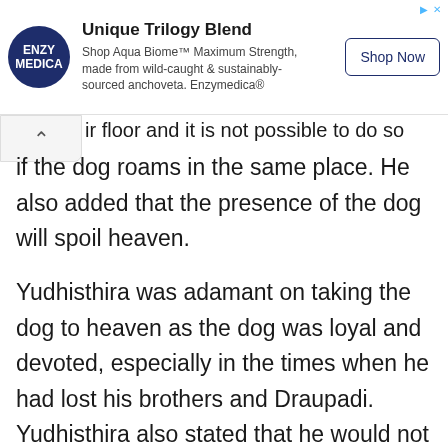[Figure (other): Advertisement banner for Enzymedica Aqua Biome product with logo, title 'Unique Trilogy Blend', body text, and Shop Now button]
ir floor and it is not possible to do so if the dog roams in the same place. He also added that the presence of the dog will spoil heaven.
Yudhisthira was adamant on taking the dog to heaven as the dog was loyal and devoted, especially in the times when he had lost his brothers and Draupadi. Yudhisthira also stated that he would not be happy in heaven without the dog.